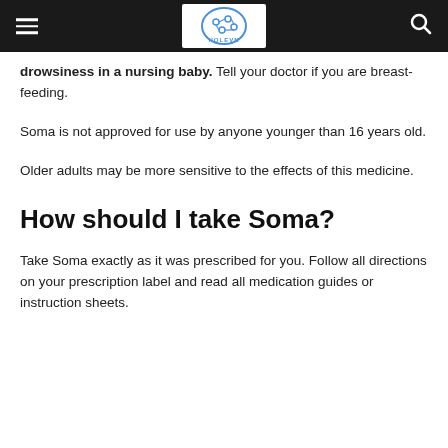HOLEVN logo with hamburger menu and search icon
drowsiness in a nursing baby. Tell your doctor if you are breast-feeding.
Soma is not approved for use by anyone younger than 16 years old.
Older adults may be more sensitive to the effects of this medicine.
How should I take Soma?
Take Soma exactly as it was prescribed for you. Follow all directions on your prescription label and read all medication guides or instruction sheets.